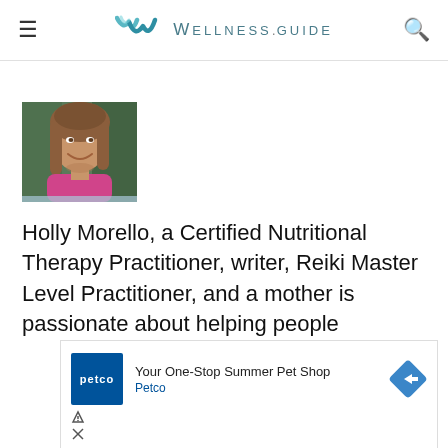WELLNESS.GUIDE
[Figure (photo): Headshot photo of Holly Morello, a woman with long brown hair, smiling, wearing a pink top, with a blurred outdoor background]
Holly Morello, a Certified Nutritional Therapy Practitioner, writer, Reiki Master Level Practitioner, and a mother is passionate about helping people
[Figure (screenshot): Petco advertisement: 'Your One-Stop Summer Pet Shop' with Petco logo and navigation arrow icon]